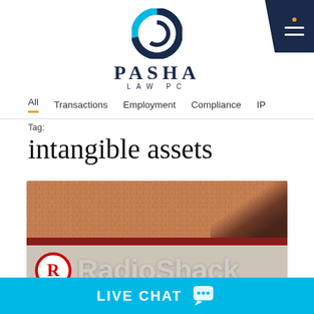[Figure (logo): Pasha Law PC logo with circular blue/navy icon and text PASHA LAW PC]
Navigation menu: All | Transactions | Employment | Compliance | IP
Tag:
intangible assets
[Figure (photo): Photo of a RadioShack store exterior showing roof tiles and RadioShack sign with registered trademark R logo]
LIVE CHAT